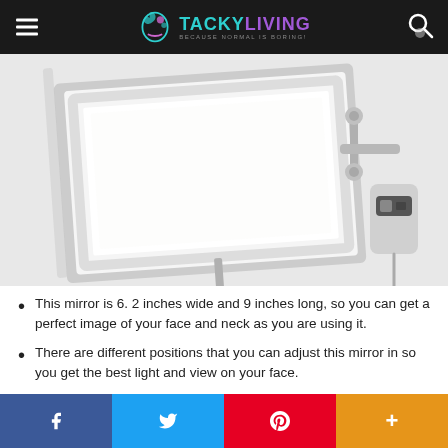TACKY LIVING — Because Normal is Boring!
[Figure (photo): Close-up product photo of a wall-mounted LED lighted vanity mirror with a square illuminated face and brushed nickel/chrome finish, showing the articulating arm, toggle switch, and power cord mounting hardware on a white background.]
This mirror is 6. 2 inches wide and 9 inches long, so you can get a perfect image of your face and neck as you are using it.
There are different positions that you can adjust this mirror in so you get the best light and view on your face.
Facebook | Twitter | Pinterest | More